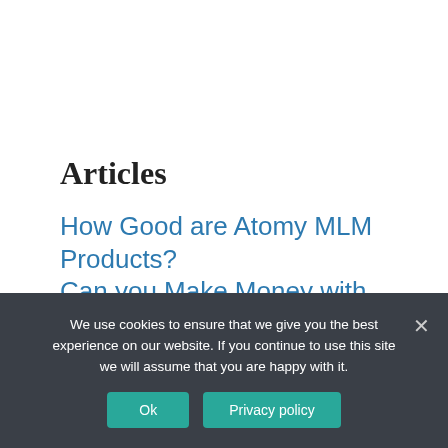Articles
How Good are Atomy MLM Products? Can you Make Money with them.
Michael Dubhthaigh  29/08/2022  Articles, MLM  No Comments
We use cookies to ensure that we give you the best experience on our website. If you continue to use this site we will assume that you are happy with it.